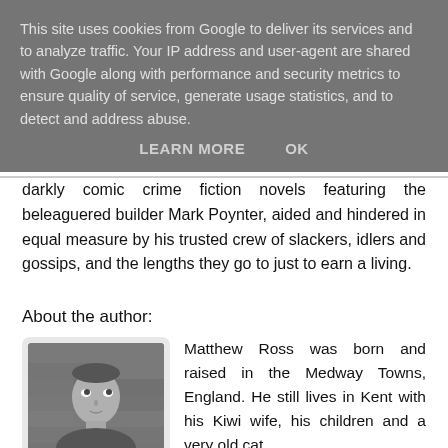This site uses cookies from Google to deliver its services and to analyze traffic. Your IP address and user-agent are shared with Google along with performance and security metrics to ensure quality of service, generate usage statistics, and to detect and address abuse.
LEARN MORE    OK
darkly comic crime fiction novels featuring the beleaguered builder Mark Poynter, aided and hindered in equal measure by his trusted crew of slackers, idlers and gossips, and the lengths they go to just to earn a living.
About the author:
[Figure (photo): Black and white photograph of a man looking upward, with short hair, against a stone or brick wall background.]
Matthew Ross was born and raised in the Medway Towns, England. He still lives in Kent with his Kiwi wife, his children and a very old cat.